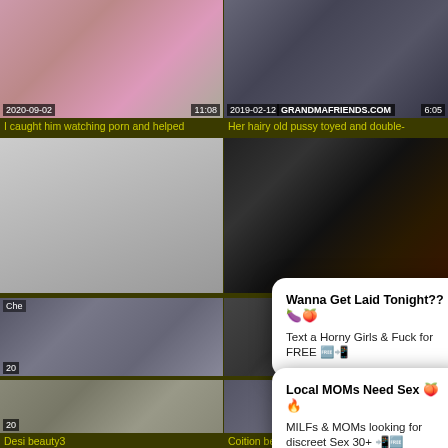[Figure (screenshot): Video thumbnail top-left with date 2020-09-02 and duration 11:08]
I caught him watching porn and helped
[Figure (screenshot): Video thumbnail top-right with date 2019-02-12, watermark GRANDMAFRIENDS.COM, duration 6:05]
Her hairy old pussy toyed and double-
[Figure (screenshot): Video thumbnail mid-left]
[Figure (screenshot): Video thumbnail mid-right]
[Figure (screenshot): Video thumbnail partial bottom-left with date 20..., label Che...]
[Figure (screenshot): Video thumbnail partial bottom-right with duration 27]
Wanna Get Laid Tonight?? 🍆🍑
Text a Horny Girls & Fuck for FREE 🆓📲
Local MOMs Need Sex 🍑🔥
MILFs & MOMs looking for discreet Sex 30+ 📲🆓
[Figure (screenshot): Video thumbnail bottom row left with date 20..., label Desi beauty3]
Desi beauty3
[Figure (screenshot): Video thumbnail bottom row right with duration 50, label Coition behind mottle unaffected by]
Coition behind mottle unaffected by